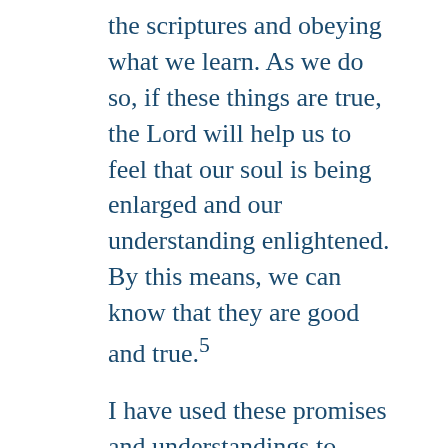the scriptures and obeying what we learn. As we do so, if these things are true, the Lord will help us to feel that our soul is being enlarged and our understanding enlightened. By this means, we can know that they are good and true.⁵
I have used these promises and understandings to experiment on the word of God and have felt a powerful confirmation of the truthfulness of several things. In this light, I want to share some things of God that I know.
I know that God the Father and His Son Jesus Christ appeared to Joseph Smith in 1820 and that through him they restored the Church of Jesus Christ in our era. That witness has been